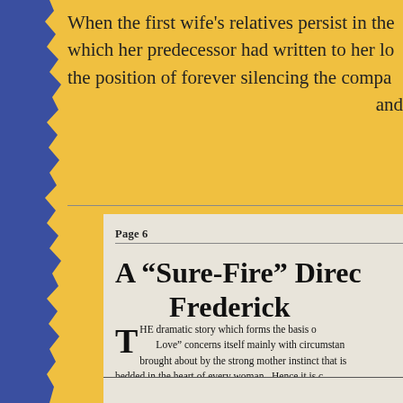When the first wife's relatives persist in the which her predecessor had written to her lo the position of forever silencing the compa and
Page 6
A “Sure-Fire” Direc Frederick
THE dramatic story which forms the basis o Love” concerns itself mainly with circumstan brought about by the strong mother instinct that is bedded in the heart of every woman. Hence it is c the picture is one that will appeal strongly to wome
Accordingly, your mail campaign should be dire to the “weaker sex” and should drive home the vi of the picture.
Inasmuch as “Bonds of Love” depicts the trials tions of a second wife, it would be an excellent ide